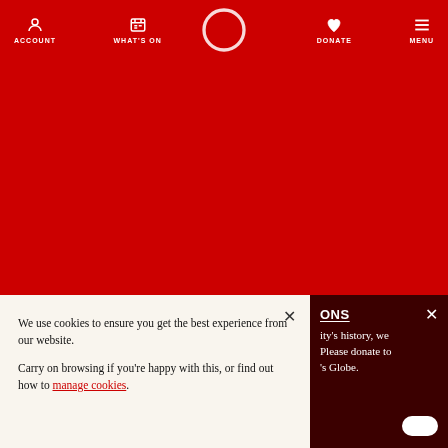ACCOUNT  WHAT'S ON  [Globe Logo]  DONATE  MENU
[Figure (screenshot): Red background area filling center of page]
We use cookies to ensure you get the best experience from our website.

Carry on browsing if you're happy with this, or find out how to manage cookies.
ONS
ity's history, we
Please donate to
's Globe.